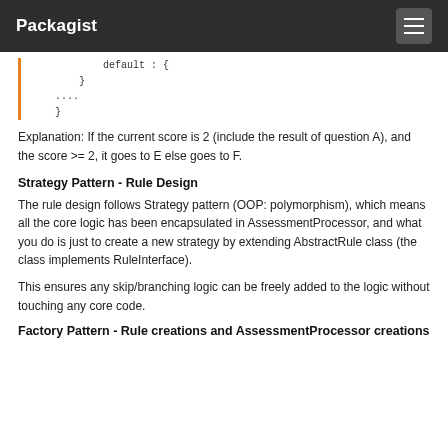Packagist
[Figure (screenshot): Code block with left orange border showing: default : { ... } .... }]
Explanation: If the current score is 2 (include the result of question A), and the score >= 2, it goes to E else goes to F.
Strategy Pattern - Rule Design
The rule design follows Strategy pattern (OOP: polymorphism), which means all the core logic has been encapsulated in AssessmentProcessor, and what you do is just to create a new strategy by extending AbstractRule class (the class implements RuleInterface).
This ensures any skip/branching logic can be freely added to the logic without touching any core code.
Factory Pattern - Rule creations and AssessmentProcessor creations